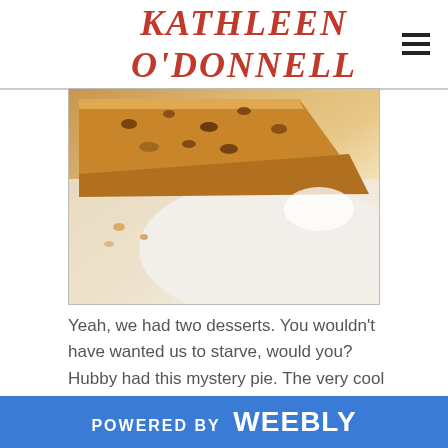KATHLEEN O'DONNELL
[Figure (photo): Close-up photo of a slice of mystery pie/cake with nuts/raisins visible, on a white plate with some crumbs]
Yeah, we had two desserts. You wouldn't have wanted us to starve, would you? Hubby had this mystery pie. The very cool waitress said it was "a cheese-a cake but no really cheese-a cake with-a chocolate." Fantastico!
POWERED BY weebly